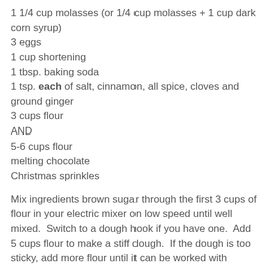1 1/4 cup molasses (or 1/4 cup molasses + 1 cup dark corn syrup)
3 eggs
1 cup shortening
1 tbsp. baking soda
1 tsp. each of salt, cinnamon, all spice, cloves and ground ginger
3 cups flour
AND
5-6 cups flour
melting chocolate
Christmas sprinkles
Mix ingredients brown sugar through the first 3 cups of flour in your electric mixer on low speed until well mixed.  Switch to a dough hook if you have one.  Add 5 cups flour to make a stiff dough.  If the dough is too sticky, add more flour until it can be worked with easily.  If it seems too soft, place in fridge to stiffen it up a bit, otherwise, roll out into 1/4 inch thickness and cut into cookies.  Place on greased cookie sheets and bake at 350 degrees for 8-10 minutes.  Don't overbake if you like them soft and chewy.  Dip in melted